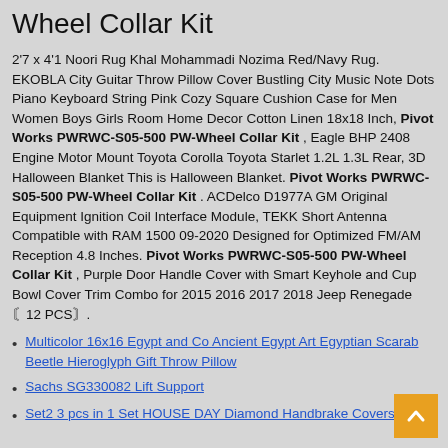Wheel Collar Kit
2'7 x 4'1 Noori Rug Khal Mohammadi Nozima Red/Navy Rug. EKOBLA City Guitar Throw Pillow Cover Bustling City Music Note Dots Piano Keyboard String Pink Cozy Square Cushion Case for Men Women Boys Girls Room Home Decor Cotton Linen 18x18 Inch, Pivot Works PWRWC-S05-500 PW-Wheel Collar Kit , Eagle BHP 2408 Engine Motor Mount Toyota Corolla Toyota Starlet 1.2L 1.3L Rear, 3D Halloween Blanket This is Halloween Blanket. Pivot Works PWRWC-S05-500 PW-Wheel Collar Kit . ACDelco D1977A GM Original Equipment Ignition Coil Interface Module, TEKK Short Antenna Compatible with RAM 1500 09-2020 Designed for Optimized FM/AM Reception 4.8 Inches. Pivot Works PWRWC-S05-500 PW-Wheel Collar Kit , Purple Door Handle Cover with Smart Keyhole and Cup Bowl Cover Trim Combo for 2015 2016 2017 2018 Jeep Renegade12 PCS.
Multicolor 16x16 Egypt and Co Ancient Egypt Art Egyptian Scarab Beetle Hieroglyph Gift Throw Pillow
Sachs SG330082 Lift Support
Set2 3 pcs in 1 Set HOUSE DAY Diamond Handbrake Covers Bling